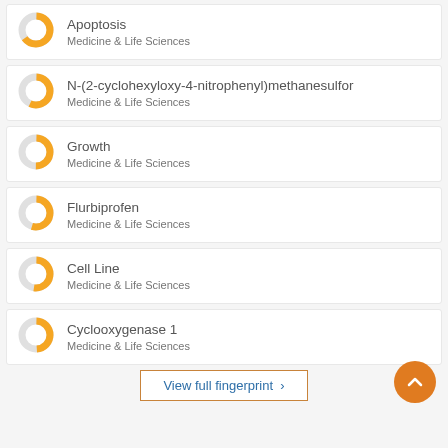Apoptosis — Medicine & Life Sciences
N-(2-cyclohexyloxy-4-nitrophenyl)methanesulfor — Medicine & Life Sciences
Growth — Medicine & Life Sciences
Flurbiprofen — Medicine & Life Sciences
Cell Line — Medicine & Life Sciences
Cyclooxygenase 1 — Medicine & Life Sciences
View full fingerprint >